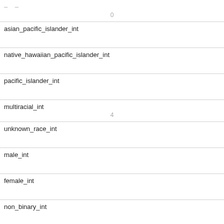| Field | Value |
| --- | --- |
| –  –
0 |  |
| asian_pacific_islander_int |  |
| native_hawaiian_pacific_islander_int |  |
| pacific_islander_int |  |
| multiracial_int | 4 |
| unknown_race_int |  |
| male_int |  |
| female_int |  |
| non_binary_int |  |
| unknown_gender_int |  |
| ell_int |  |